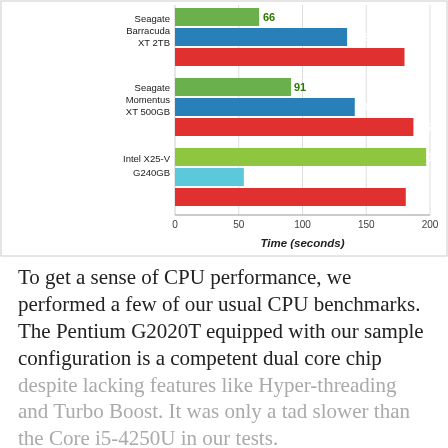[Figure (bar-chart): ]
To get a sense of CPU performance, we performed a few of our usual CPU benchmarks. The Pentium G2020T equipped with our sample configuration is a competent dual core chip despite lacking features like Hyper-threading and Turbo Boost. It was only a tad slower than the Core i5-4250U in our tests.